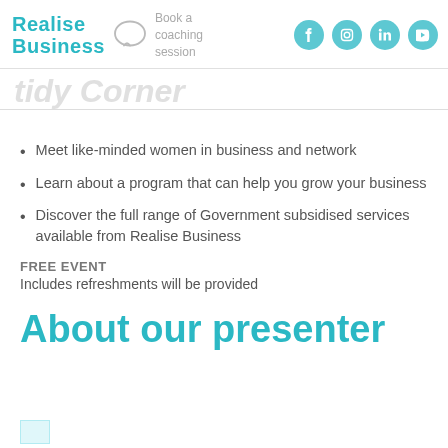Realise Business | Book a coaching session | Social icons: Facebook, Instagram, LinkedIn, YouTube
[Faded italic title text — partially visible]
Meet like-minded women in business and network
Learn about a program that can help you grow your business
Discover the full range of Government subsidised services available from Realise Business
FREE EVENT
Includes refreshments will be provided
About our presenter